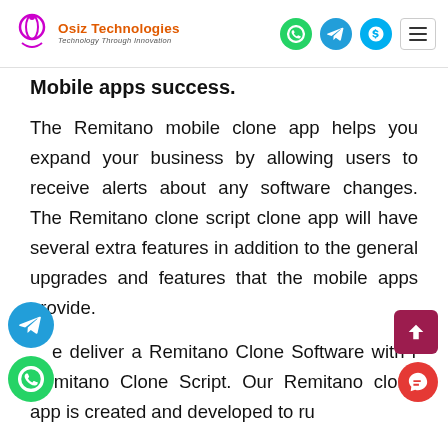Osiz Technologies — Technology Through Innovation
Mobile apps success.
The Remitano mobile clone app helps you expand your business by allowing users to receive alerts about any software changes. The Remitano clone script clone app will have several extra features in addition to the general upgrades and features that the mobile apps provide.
We deliver a Remitano Clone Software with our Remitano Clone Script. Our Remitano clone app is created and developed to run...